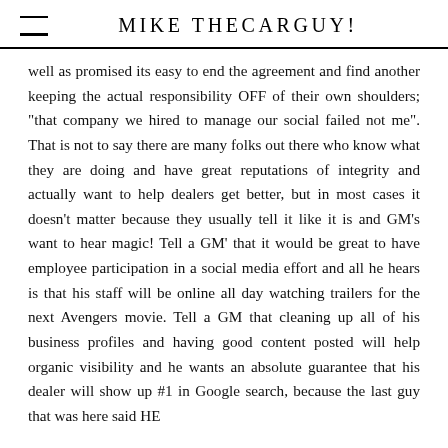MIKE THECARGUY!
well as promised its easy to end the agreement and find another keeping the actual responsibility OFF of their own shoulders; "that company we hired to manage our social failed not me". That is not to say there are many folks out there who know what they are doing and have great reputations of integrity and actually want to help dealers get better, but in most cases it doesn't matter because they usually tell it like it is and GM's want to hear magic! Tell a GM' that it would be great to have employee participation in a social media effort and all he hears is that his staff will be online all day watching trailers for the next Avengers movie. Tell a GM that cleaning up all of his business profiles and having good content posted will help organic visibility and he wants an absolute guarantee that his dealer will show up #1 in Google search, because the last guy that was here said HE could li...